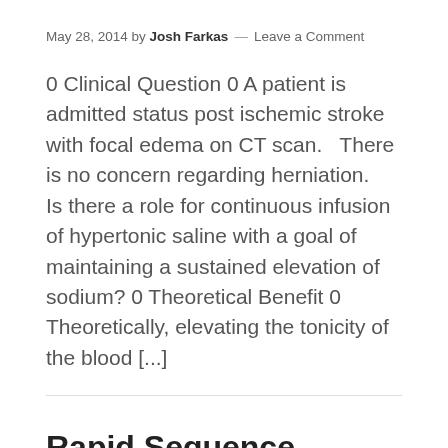May 28, 2014 by Josh Farkas — Leave a Comment
0 Clinical Question 0 A patient is admitted status post ischemic stroke with focal edema on CT scan.   There is no concern regarding herniation.   Is there a role for continuous infusion of hypertonic saline with a goal of maintaining a sustained elevation of sodium? 0 Theoretical Benefit 0 Theoretically, elevating the tonicity of the blood [...]
Rapid Sequence Intubation and Procedurization
May 22, 2014 by Josh Farkas — 4 Comments